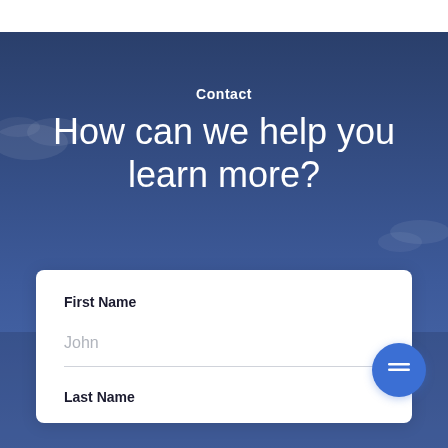Contact
How can we help you learn more?
First Name
John
Last Name